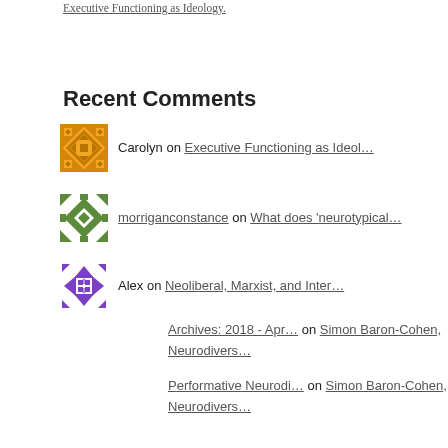Executive Functioning as Ideology.
Recent Comments
Carolyn on Executive Functioning as Ideol...
morriganconstance on What does 'neurotypical...
Alex on Neoliberal, Marxist, and Inter...
Archives: 2018 - Apr... on Simon Baron-Cohen, Neurodivers...
Performative Neurodi... on Simon Baron-Cohen, Neurodivers...